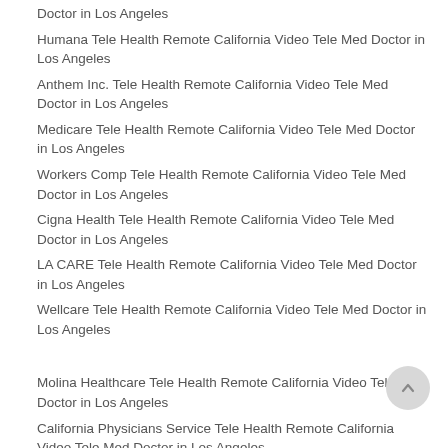Doctor in Los Angeles
Humana Tele Health Remote California Video Tele Med Doctor in Los Angeles
Anthem Inc. Tele Health Remote California Video Tele Med Doctor in Los Angeles
Medicare Tele Health Remote California Video Tele Med Doctor in Los Angeles
Workers Comp Tele Health Remote California Video Tele Med Doctor in Los Angeles
Cigna Health Tele Health Remote California Video Tele Med Doctor in Los Angeles
LA CARE Tele Health Remote California Video Tele Med Doctor in Los Angeles
Wellcare Tele Health Remote California Video Tele Med Doctor in Los Angeles
Molina Healthcare Tele Health Remote California Video Tele Med Doctor in Los Angeles
California Physicians Service Tele Health Remote California Video Tele Med Doctor in Los Angeles